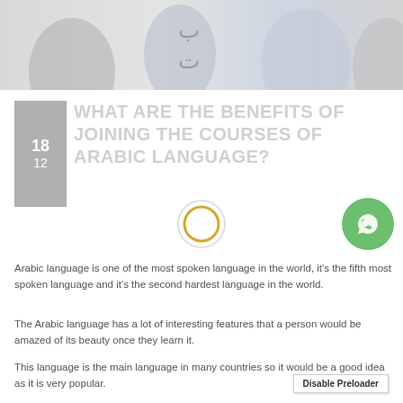[Figure (photo): Faded/washed-out photo of people, possibly in a classroom or meeting setting, with Arabic letters overlaid (ب and ت)]
18
12
WHAT ARE THE BENEFITS OF JOINING THE COURSES OF ARABIC LANGUAGE?
[Figure (other): Circular play button icon with orange ring]
[Figure (other): Green circular WhatsApp icon button]
Arabic language is one of the most spoken language in the world, it's the fifth most spoken language and it's the second hardest language in the world.
The Arabic language has a lot of interesting features that a person would be amazed of its beauty once they learn it.
This language is the main language in many countries so it would be a good idea as it is very popular.
Disable Preloader